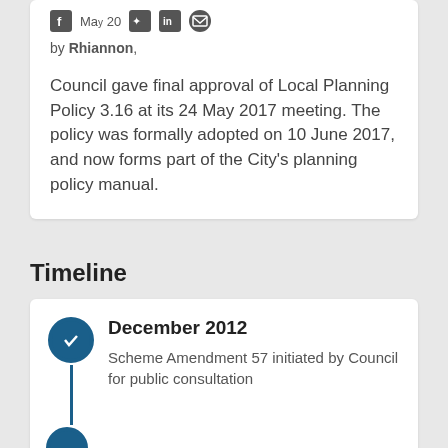[Figure (infographic): Social media sharing icons (Facebook, Twitter, LinkedIn, email) with partial date text 'May 20']
by Rhiannon,
Council gave final approval of Local Planning Policy 3.16 at its 24 May 2017 meeting. The policy was formally adopted on 10 June 2017, and now forms part of the City’s planning policy manual.
Timeline
December 2012
Scheme Amendment 57 initiated by Council for public consultation